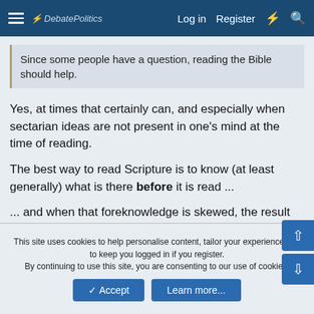DebatePolitics — Log in  Register
Since some people have a question, reading the Bible should help.
Yes, at times that certainly can, and especially when sectarian ideas are not present in one's mind at the time of reading.
The best way to read Scripture is to know (at least generally) what is there before it is read ...
... and when that foreknowledge is skewed, the result will also be skewed ...
... and that is why people can so easily mis-use Scripture to allegedly validate all sorts of ridiculous ideas.
This site uses cookies to help personalise content, tailor your experience and to keep you logged in if you register. By continuing to use this site, you are consenting to our use of cookies.  Accept  Learn more...